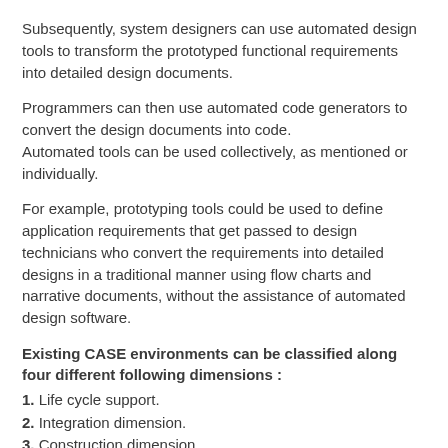Subsequently, system designers can use automated design tools to transform the prototyped functional requirements into detailed design documents.
Programmers can then use automated code generators to convert the design documents into code.
Automated tools can be used collectively, as mentioned or individually.
For example, prototyping tools could be used to define application requirements that get passed to design technicians who convert the requirements into detailed designs in a traditional manner using flow charts and narrative documents, without the assistance of automated design software.
Existing CASE environments can be classified along four different following dimensions :
1. Life cycle support.
2. Integration dimension.
3. Construction dimension.
4. Knowledge based CASE dimension .
Let us take the meaning of these dimensions along with their examples one by one: